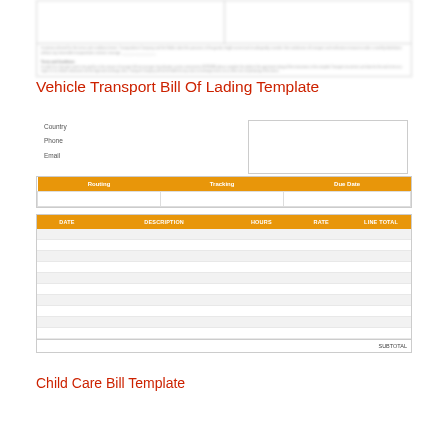[Figure (other): Blurred top portion of a bill of lading document form with two columns and fine print terms and conditions text]
Vehicle Transport Bill Of Lading Template
[Figure (other): Preview of a Vehicle Transport Bill of Lading template showing contact fields (Country, Phone, Email), a routing table with columns for Routing, Tracking, Due Date, and an itemized table with columns DATE, DESCRIPTION, HOURS, RATE, LINE TOTAL with multiple alternating striped rows and a subtotal line]
Child Care Bill Template